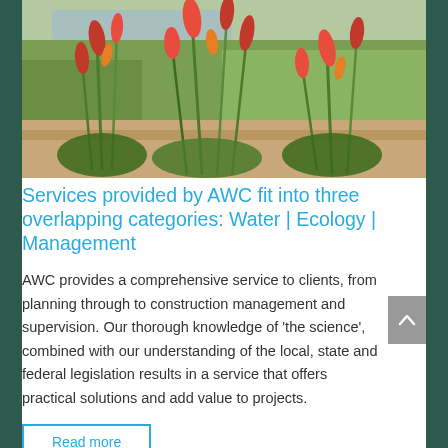[Figure (photo): Photograph of red flowering plants (kangaroo paw or similar) in a landscaped garden bed with green grass and water/path in the background.]
Services provided by AWC fit into three overlapping categories: Water | Ecology | Management
AWC provides a comprehensive service to clients, from planning through to construction management and supervision. Our thorough knowledge of ‘the science’, combined with our understanding of the local, state and federal legislation results in a service that offers practical solutions and add value to projects.
Read more